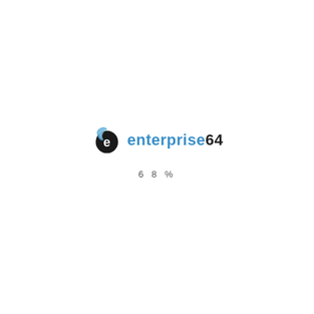[Figure (logo): Enterprise64 company logo with stylized 'e' icon in black and blue swirl design, followed by text 'enterprise64' in blue with '64' in dark color]
68%